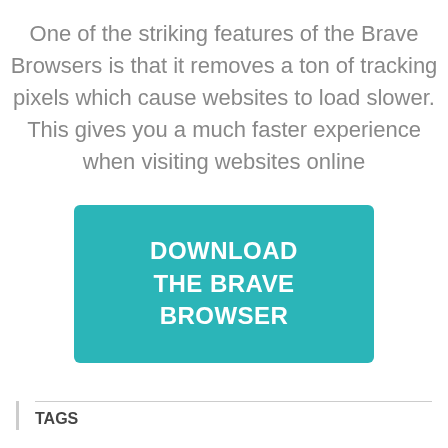One of the striking features of the Brave Browsers is that it removes a ton of tracking pixels which cause websites to load slower. This gives you a much faster experience when visiting websites online
[Figure (other): Teal/turquoise call-to-action button with white text reading DOWNLOAD THE BRAVE BROWSER]
TAGS